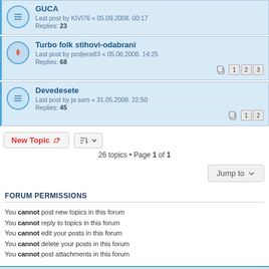GUCA - Last post by KIVI76 « 05.09.2008. 00:17 - Replies: 23
Turbo folk stihovi-odabrani - Last post by proljece83 « 05.06.2008. 14:25 - Replies: 68
Devedesete - Last post by ja sam « 31.05.2008. 22:50 - Replies: 45
26 topics • Page 1 of 1
Jump to
FORUM PERMISSIONS
You cannot post new topics in this forum
You cannot reply to topics in this forum
You cannot edit your posts in this forum
You cannot delete your posts in this forum
You cannot post attachments in this forum
Board index | Delete cookies | All times are UTC+02:00
Powered by phpBB® Forum Software © phpBB Limited | Privacy | Terms